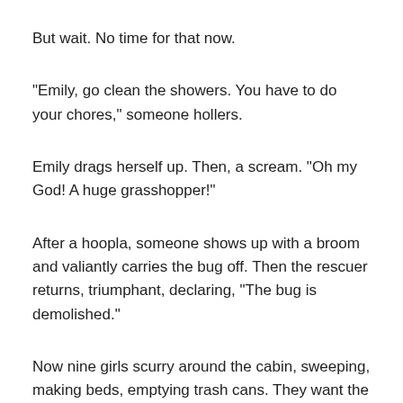But wait. No time for that now.
"Emily, go clean the showers. You have to do your chores," someone hollers.
Emily drags herself up. Then, a scream. "Oh my God! A huge grasshopper!"
After a hoopla, someone shows up with a broom and valiantly carries the bug off. Then the rescuer returns, triumphant, declaring, "The bug is demolished."
Now nine girls scurry around the cabin, sweeping, making beds, emptying trash cans. They want the tidiest cabin award.